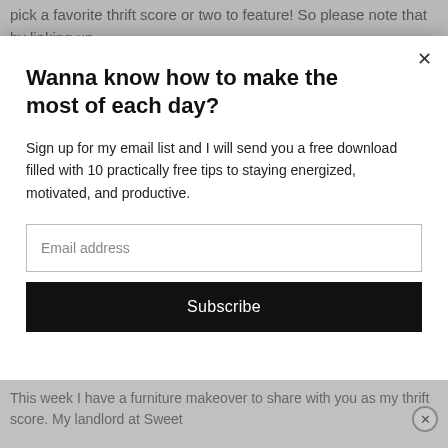pick a favorite thrift score or two to feature! So please note that by linking up
Wanna know how to make the most of each day?
Sign up for my email list and I will send you a free download filled with 10 practically free tips to staying energized, motivated, and productive.
Email address
Subscribe
This week I have a furniture makeover to share with you as my thrift score. My landlord at Sweet